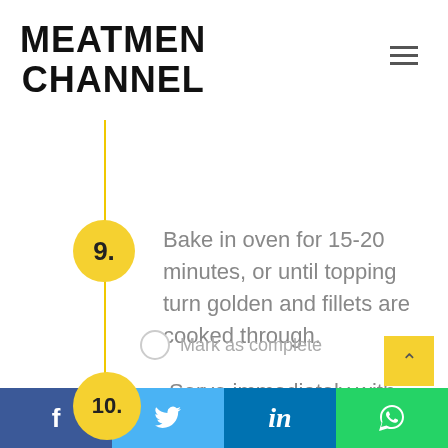MEATMEN CHANNEL
9. Bake in oven for 15-20 minutes, or until topping turn golden and fillets are cooked through.
Mark as complete
10. Serve immediately with
Facebook | Twitter | LinkedIn | WhatsApp